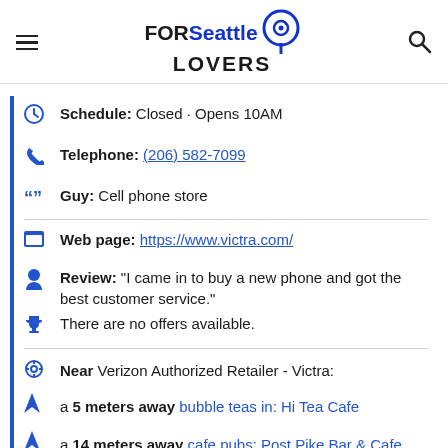FOR Seattle LOVERS
Schedule: Closed · Opens 10AM
Telephone: (206) 582-7099
Guy: Cell phone store
Web page: https://www.victra.com/
Review: "I came in to buy a new phone and got the best customer service."
There are no offers available.
Near Verizon Authorized Retailer - Victra:
a 5 meters away bubble teas in: Hi Tea Cafe
a 14 meters away cafe pubs: Post Pike Bar & Cafe
a 20 meters away mailing companies in: United States Postal Service